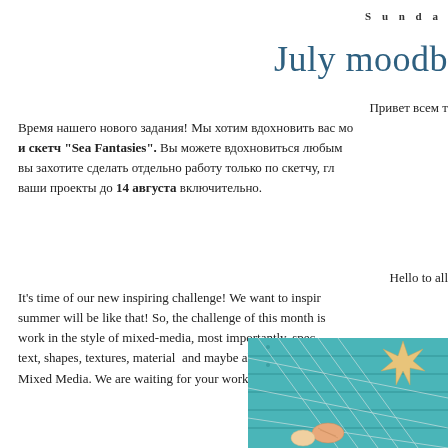Sunda
July moodb
Привет всем т
Время нашего нового задания! Мы хотим вдохновить вас мо и скетч "Sea Fantasies". Вы можете вдохновиться любым вы захотите сделать отдельно работу только по скетчу, гл ваши проекты до 14 августа включительно.
Hello to all
It's time of our new inspiring challenge! We want to inspir summer will be like that! So, the challenge of this month is work in the style of mixed-media, most importantly, spec text, shapes, textures, material and maybe all at once! You ca Mixed Media. We are waiting for your work of any format
[Figure (photo): Photo of nautical/sea themed items including a starfish, fishing net, and shells on a teal/turquoise wooden background]